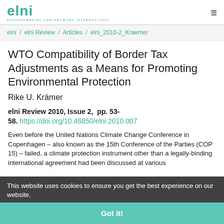elni — Environmental Law Network International
elni / elni Review / Articles / elni_2010-2_Kraemer
WTO Compatibility of Border Tax Adjustments as a Means for Promoting Environmental Protection
Rike U. Krämer
elni Review 2010, Issue 2,  pp. 53-58. https://doi.org/10.46850/elni.2010.007
Even before the United Nations Climate Change Conference in Copenhagen – also known as the 15th Conference of the Parties (COP 15) – failed, a climate protection instrument other than a legally-binding international agreement had been discussed at various
This website uses cookies to ensure you get the best experience on our website.
Got it!